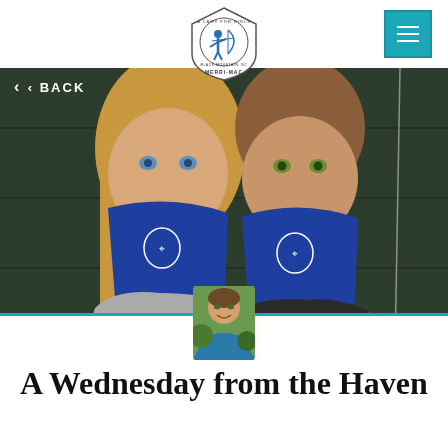[Figure (logo): Camp Merri-Mac logo: shield/arrowhead shape with archer silhouette and text 'A Camp for Girls · Black Mountain NC · Merri-Mac']
[Figure (other): Hamburger menu icon button in teal/cyan square]
< BACK
[Figure (photo): Two teenage girls wearing blue Merri-Mac branded face mask gaiters, posing together against a dark green wooden background]
[Figure (photo): Small circular/rectangular thumbnail photo of a smiling adult man, partially overlapping the hero image and white content area]
A Wednesday from the Haven